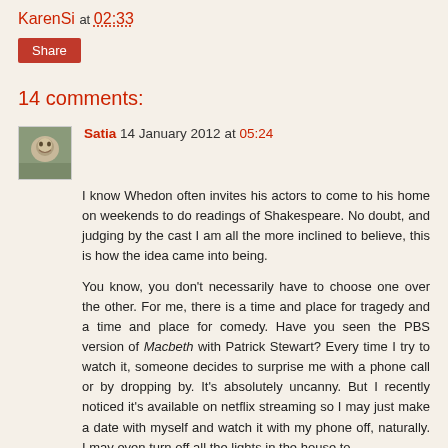KarenSi at 02:33
Share
14 comments:
Satia 14 January 2012 at 05:24
I know Whedon often invites his actors to come to his home on weekends to do readings of Shakespeare. No doubt, and judging by the cast I am all the more inclined to believe, this is how the idea came into being.

You know, you don't necessarily have to choose one over the other. For me, there is a time and place for tragedy and a time and place for comedy. Have you seen the PBS version of Macbeth with Patrick Stewart? Every time I try to watch it, someone decides to surprise me with a phone call or by dropping by. It's absolutely uncanny. But I recently noticed it's available on netflix streaming so I may just make a date with myself and watch it with my phone off, naturally. I may even turn off all the lights in the house to